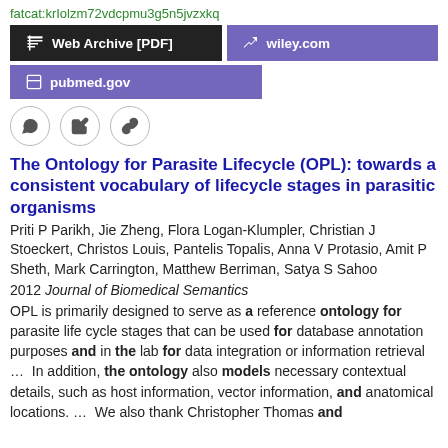fatcat:krIolzm72vdcpmu3g5n5jvzxkq
[Figure (screenshot): Web Archive [PDF] button (black), wiley.com button (purple), pubmed.gov button (purple)]
[Figure (infographic): Three icon buttons: quote, edit, link]
The Ontology for Parasite Lifecycle (OPL): towards a consistent vocabulary of lifecycle stages in parasitic organisms
Priti P Parikh, Jie Zheng, Flora Logan-Klumpler, Christian J Stoeckert, Christos Louis, Pantelis Topalis, Anna V Protasio, Amit P Sheth, Mark Carrington, Matthew Berriman, Satya S Sahoo
2012 Journal of Biomedical Semantics
OPL is primarily designed to serve as a reference ontology for parasite life cycle stages that can be used for database annotation purposes and in the lab for data integration or information retrieval …  In addition, the ontology also models necessary contextual details, such as host information, vector information, and anatomical locations. …  We also thank Christopher Thomas and